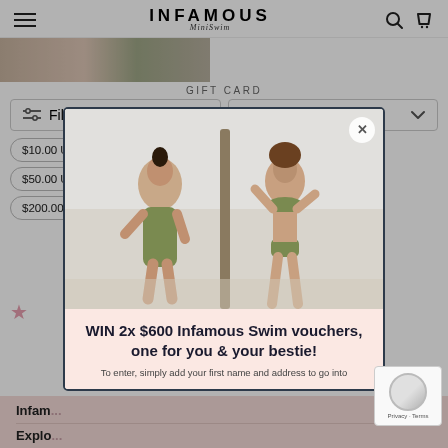INFAMOUS MiniSwim
[Figure (photo): Partial view of swimwear product image at top of page]
GIFT CARD
Filter
Best selling
$10.00 USD
$25.00 USD
$50.00 USD
$100.00 USD
$200.00 USD
[Figure (photo): Popup modal showing two women wearing olive green swimwear posing near a palm tree]
WIN 2x $600 Infamous Swim vouchers, one for you & your bestie!
To enter, simply add your first name and address to go into
Infam
Explo